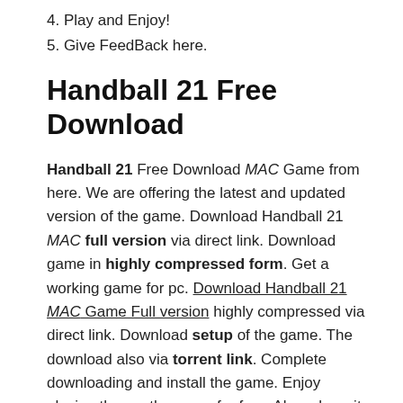4. Play and Enjoy!
5. Give FeedBack here.
Handball 21 Free Download
Handball 21 Free Download MAC Game from here. We are offering the latest and updated version of the game. Download Handball 21 MAC full version via direct link. Download game in highly compressed form. Get a working game for pc. Download Handball 21 MAC Game Full version highly compressed via direct link. Download setup of the game. The download also via torrent link. Complete downloading and install the game. Enjoy playing the worthy game for free. Also, share it with friends. Click the below-given download button to start the download.